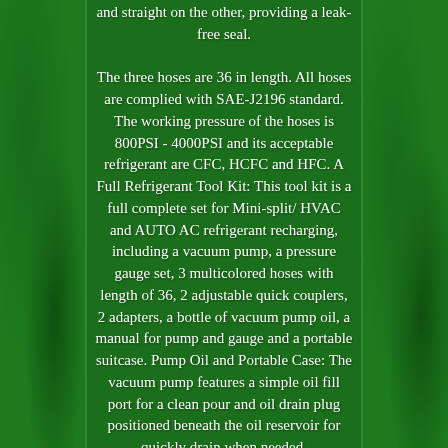and straight on the other, providing a leak-free seal. The three hoses are 36 in length. All hoses are complied with SAE-J2196 standard. The working pressure of the hoses is 800PSI - 4000PSI and its acceptable refrigerant are CFC, HCFC and HFC. A Full Refrigerant Tool Kit: This tool kit is a full complete set for Mini-split/ HVAC and AUTO AC refrigerant recharging, including a vacuum pump, a pressure gauge set, 3 multicolored hoses with length of 36, 2 adjustable quick couplers, 2 adapters, a bottle of vacuum pump oil, a manual for pump and gauge and a portable suitcase. Pump Oil and Portable Case: The vacuum pump features a simple oil fill port for a clean pour and oil drain plug positioned beneath the oil reservoir for quickly drain when needed.